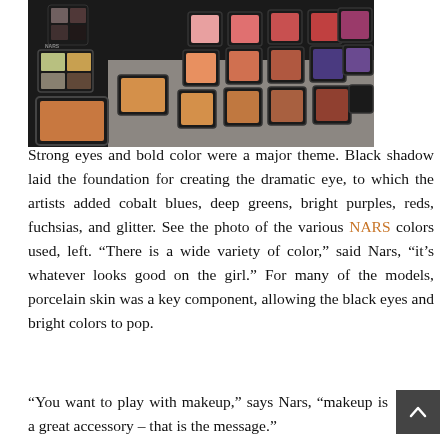[Figure (photo): A top-down photo showing many NARS makeup palettes and blushes displayed on a table — including eyeshadow quads and single blush compacts in various colors (pinks, oranges, reds, browns, purples) arranged in rows.]
Strong eyes and bold color were a major theme. Black shadow laid the foundation for creating the dramatic eye, to which the artists added cobalt blues, deep greens, bright purples, reds, fuchsias, and glitter. See the photo of the various NARS colors used, left. “There is a wide variety of color,” said Nars, “it’s whatever looks good on the girl.” For many of the models, porcelain skin was a key component, allowing the black eyes and bright colors to pop.
“You want to play with makeup,” says Nars, “make up is a great accessory – that is the message.”